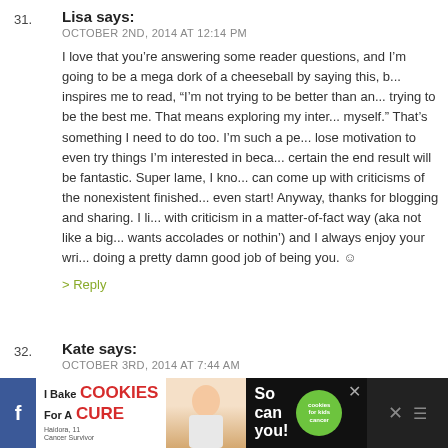31. Lisa says:
OCTOBER 2ND, 2014 AT 12:14 PM
I love that you're answering some reader questions, and I'm going to be a mega dork of a cheeseball by saying this, but it inspires me to read, “I’m not trying to be better than anyone, I’m trying to be the best me. That means exploring my interests and being myself.” That’s something I need to do too. I’m such a perfectionist I lose motivation to even try things I’m interested in because I’m not certain the end result will be fantastic. Super lame, I know — my inner critic can come up with criticisms of the nonexistent finished product before I even start! Anyway, thanks for blogging and sharing. I like how you deal with criticism in a matter-of-fact way (aka not like a big baby who just wants accolades or nothin’) and I always enjoy your writing. You’re doing a pretty damn good job of being you. ☺
32. Kate says:
OCTOBER 3RD, 2014 AT 7:44 AM
[Figure (infographic): Advertisement banner: I Bake COOKIES For A CURE with image of girl, So can you!, cookies for kids cancer badge, close button, Facebook icon, X icon, menu bars icon]